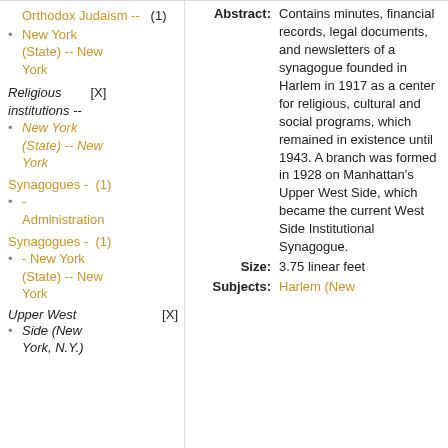Orthodox Judaism -- (1)
New York (State) -- New York
Religious institutions -- [X]
New York (State) -- New York
Synagogues - (1)
- Administration
Synagogues - (1)
- New York (State) -- New York
Upper West Side (New York, N.Y.) [X]
Upper West Side (New York, N.Y.)
Abstract: Contains minutes, financial records, legal documents, and newsletters of a synagogue founded in Harlem in 1917 as a center for religious, cultural and social programs, which remained in existence until 1943. A branch was formed in 1928 on Manhattan's Upper West Side, which became the current West Side Institutional Synagogue.
Size: 3.75 linear feet
Subjects: Harlem (New